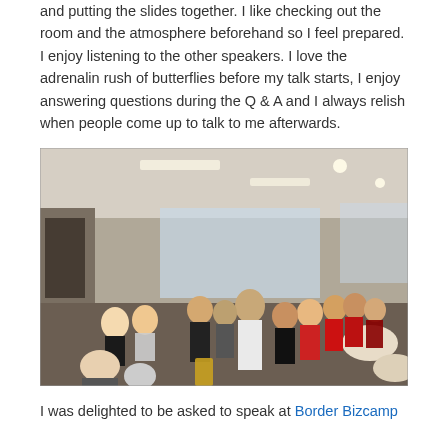and putting the slides together. I like checking out the room and the atmosphere beforehand so I feel prepared. I enjoy listening to the other speakers. I love the adrenalin rush of butterflies before my talk starts, I enjoy answering questions during the Q & A and I always relish when people come up to talk to me afterwards.
[Figure (photo): Indoor event photo showing a crowd of people networking/mingling in what appears to be a cafeteria or event space. Several people are wearing red shirts on the right side. Fluorescent lighting on the ceiling.]
I was delighted to be asked to speak at Border Bizcamp